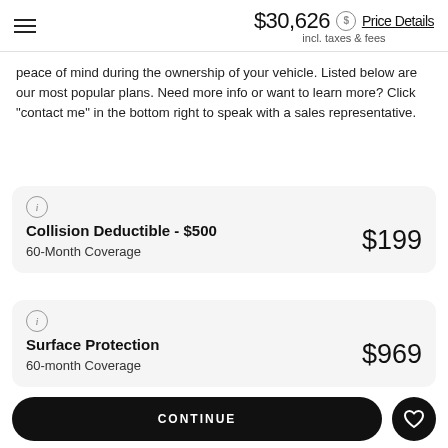$30,626 incl. taxes & fees Price Details
peace of mind during the ownership of your vehicle. Listed below are our most popular plans. Need more info or want to learn more? Click "contact me" in the bottom right to speak with a sales representative.
Collision Deductible - $500
60-Month Coverage
$199
Surface Protection
60-month Coverage
$969